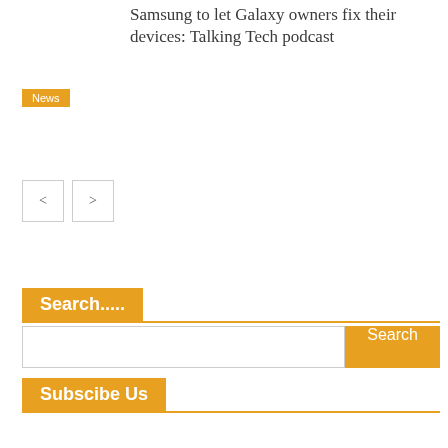Samsung to let Galaxy owners fix their devices: Talking Tech podcast
News
Search.....
Subscibe Us